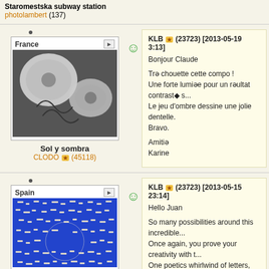Staromestska subway station photolambert (137)
[Figure (photo): Black and white photo of metal garden chairs and round table tops, Sol y sombra, by CLODO]
France
Sol y sombra
CLODO (45118)
KLB (23723) [2013-05-19 3:13]
Bonjour Claude

Très chouette cette compo !
Une forte lumière pour un résultat contrasté s...
Le jeu d'ombre dessine une jolie dentelle.
Bravo.

Amitiés
Karine
[Figure (photo): Color photo of blue and white intricate letter/pattern mosaic artwork, Spain]
Spain
KLB (23723) [2013-05-15 23:14]
Hello Juan

So many possibilities around this incredible...
Once again, you prove your creativity with t...
One poetics whirlwind of letters, complimen...

Karine